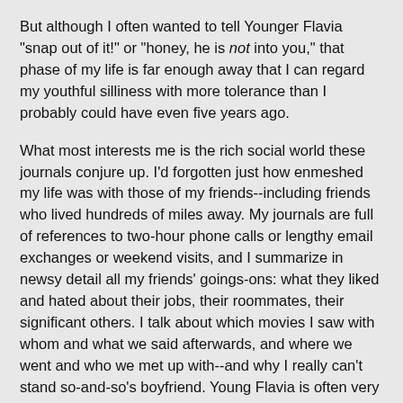But although I often wanted to tell Younger Flavia "snap out of it!" or "honey, he is not into you," that phase of my life is far enough away that I can regard my youthful silliness with more tolerance than I probably could have even five years ago.
What most interests me is the rich social world these journals conjure up. I'd forgotten just how enmeshed my life was with those of my friends--including friends who lived hundreds of miles away. My journals are full of references to two-hour phone calls or lengthy email exchanges or weekend visits, and I summarize in newsy detail all my friends' goings-ons: what they liked and hated about their jobs, their roommates, their significant others. I talk about which movies I saw with whom and what we said afterwards, and where we went and who we met up with--and why I really can't stand so-and-so's boyfriend. Young Flavia is often very funny, and good at characterizing people through a single quotation or brief anecdote that recalls them perfectly.